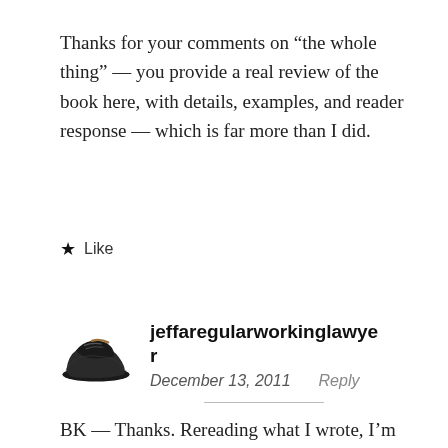Thanks for your comments on “the whole thing” — you provide a real review of the book here, with details, examples, and reader response — which is far more than I did.
★ Like
jeffaregularworkinglawyer
December 13, 2011   Reply
BK — Thanks. Rereading what I wrote, I’m annoyed at myself for using